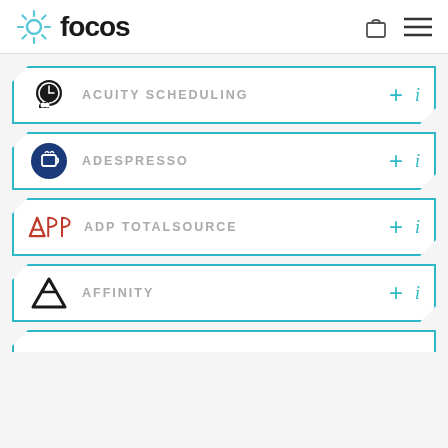focos
ACUITY SCHEDULING
ADESPRESSO
ADP TOTALSOURCE
AFFINITY